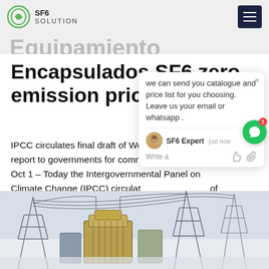SF6 SOLUTION
Encapsulados SF6 zero emission price
IPCC circulates final draft of Working Group II report to governments for comment. Oct 1 – Today the Intergovernmental Panel on Climate Change (IPCC) circulated the final draft of the Summary for Policymakers of the Working Group II contribution to the Sixth Assessment Report (AR6) to governments for their review and
[Figure (photo): Electrical substation equipment with transmission towers in winter/snowy conditions]
we can send you catalogue and price list for you choosing. Leave us your email or whatsapp .